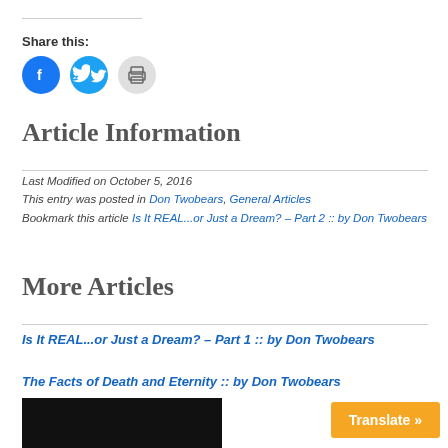Share this:
[Figure (other): Social share icons: Facebook (blue circle), Twitter (blue circle), Print (gray circle)]
Article Information
Last Modified on October 5, 2016
This entry was posted in Don Twobears, General Articles
Bookmark this article Is It REAL...or Just a Dream? – Part 2 :: by Don Twobears
More Articles
Is It REAL...or Just a Dream? – Part 1 :: by Don Twobears
The Facts of Death and Eternity :: by Don Twobears
[Figure (photo): Dark image at bottom left, partially visible]
Translate »